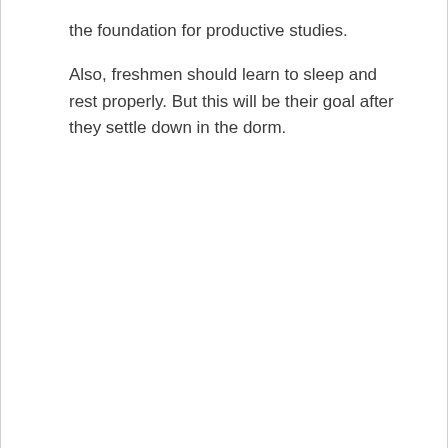the foundation for productive studies.
Also, freshmen should learn to sleep and rest properly. But this will be their goal after they settle down in the dorm.